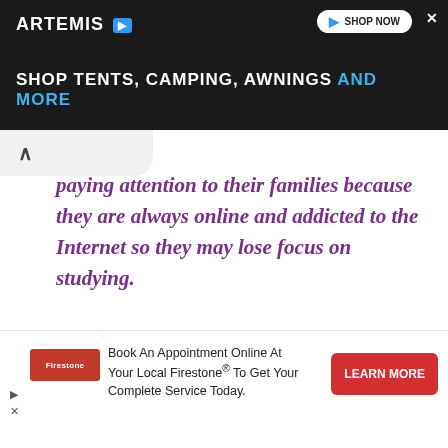[Figure (screenshot): Top advertisement banner for Artemis outdoor products showing dark rocky background with text 'SHOP TENTS, CAMPING, AWNINGS AND MORE' and a 'SHOP NOW' button]
paying attention to their families because they are always online and addicted to the Internet so they may lose focus on studying.
Conclusion 😊
[Figure (screenshot): Bottom advertisement for Firestone auto service: 'Book An Appointment Online At Your Local Firestone® To Get Your Complete Service Today.' with a red LEARN MORE button]